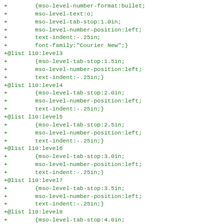+        {mso-level-number-format:bullet;
+        mso-level-text:o;
+        mso-level-tab-stop:1.0in;
+        mso-level-number-position:left;
+        text-indent:-.25in;
+        font-family:"Courier New";}
+@list l10:level3
+        {mso-level-tab-stop:1.5in;
+        mso-level-number-position:left;
+        text-indent:-.25in;}
+@list l10:level4
+        {mso-level-tab-stop:2.0in;
+        mso-level-number-position:left;
+        text-indent:-.25in;}
+@list l10:level5
+        {mso-level-tab-stop:2.5in;
+        mso-level-number-position:left;
+        text-indent:-.25in;}
+@list l10:level6
+        {mso-level-tab-stop:3.0in;
+        mso-level-number-position:left;
+        text-indent:-.25in;}
+@list l10:level7
+        {mso-level-tab-stop:3.5in;
+        mso-level-number-position:left;
+        text-indent:-.25in;}
+@list l10:level8
+        {mso-level-tab-stop:4.0in;
+        mso-level-number-position:left;
+        text-indent:-.25in;}